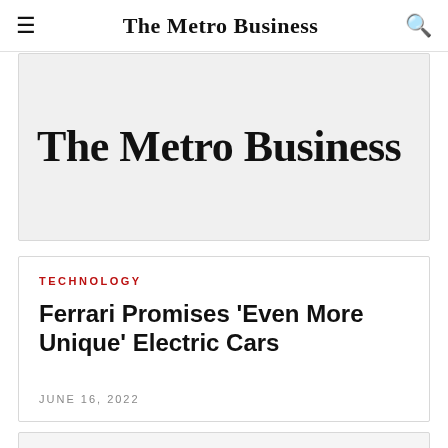The Metro Business
[Figure (logo): The Metro Business newspaper logo banner in large bold serif font on light gray background]
TECHNOLOGY
Ferrari Promises 'Even More Unique' Electric Cars
JUNE 16, 2022